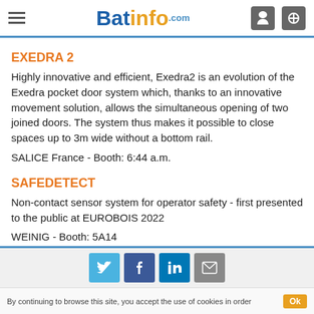Batinfo.com
EXEDRA 2
Highly innovative and efficient, Exedra2 is an evolution of the Exedra pocket door system which, thanks to an innovative movement solution, allows the simultaneous opening of two joined doors. The system thus makes it possible to close spaces up to 3m wide without a bottom rail.
SALICE France - Booth: 6:44 a.m.
SAFEDETECT
Non-contact sensor system for operator safety - first presented to the public at EUROBOIS 2022
WEINIG - Booth: 5A14
VISE LED WORKTOP
By continuing to browse this site, you accept the use of cookies in order